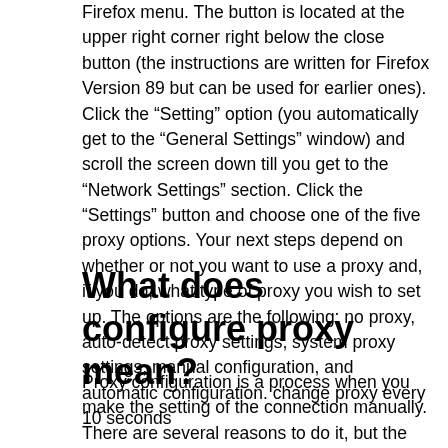Firefox menu. The button is located at the upper right corner right below the close button (the instructions are written for Firefox Version 89 but can be used for earlier ones). Click the “Setting” option (you automatically get to the “General Settings” window) and scroll the screen down till you get to the “Network Settings” section. Click the “Settings” button and choose one of the five proxy options. Your next steps depend on whether or not you want to use a proxy and, if you do, what type of proxy you wish to set up. The options are the following: no proxy, auto-detect proxy settings, system proxy settings, manual configuration, and automatic configuration. change proxy every 10 seconds
What does configure proxy mean?
Proxy configuration is a process when you make the setting of the connection manually. There are several reasons to do it, but the most common case is when